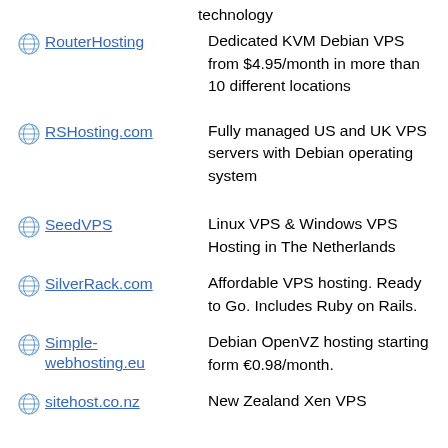technology
RouterHosting — Dedicated KVM Debian VPS from $4.95/month in more than 10 different locations
RSHosting.com — Fully managed US and UK VPS servers with Debian operating system
SeedVPS — Linux VPS & Windows VPS Hosting in The Netherlands
SilverRack.com — Affordable VPS hosting. Ready to Go. Includes Ruby on Rails.
Simple-webhosting.eu — Debian OpenVZ hosting starting form €0.98/month.
sitehost.co.nz — New Zealand Xen VPS